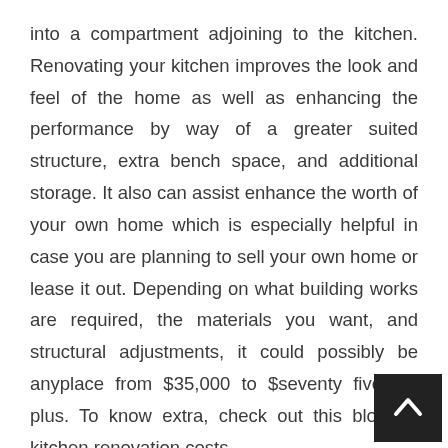into a compartment adjoining to the kitchen. Renovating your kitchen improves the look and feel of the home as well as enhancing the performance by way of a greater suited structure, extra bench space, and additional storage. It also can assist enhance the worth of your own home which is especially helpful in case you are planning to sell your own home or lease it out. Depending on what building works are required, the materials you want, and structural adjustments, it could possibly be anyplace from $35,000 to $seventy five,000 plus. To know extra, check out this blog on kitchen renovation costs.
Canteen kitchens had been often the locations the place new know-how was used first. A G-kitchen has cabinets along three walls, like the U-kitchen, and in addition a partial fourth wall, typically with a double basin sink at … Read More